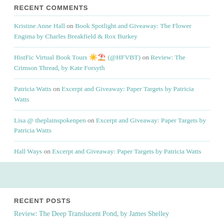RECENT COMMENTS
Kristine Anne Hall on Book Spotlight and Giveaway: The Flower Engima by Charles Breakfield & Rox Burkey
HistFic Virtual Book Tours 🌤️🏖️ (@HFVBT) on Review: The Crimson Thread, by Kate Forsyth
Patricia Watts on Excerpt and Giveaway: Paper Targets by Patricia Watts
Lisa @ theplainspokenpen on Excerpt and Giveaway: Paper Targets by Patricia Watts
Hall Ways on Excerpt and Giveaway: Paper Targets by Patricia Watts
RECENT POSTS
Review: The Deep Translucent Pond, by James Shelley